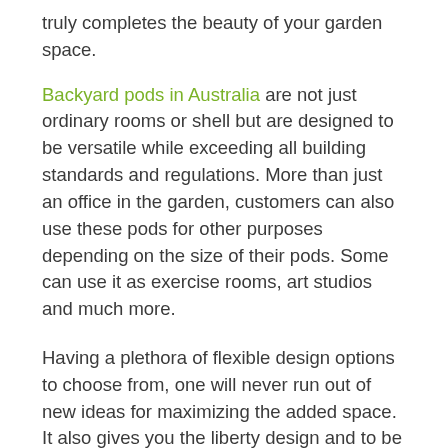truly completes the beauty of your garden space.
Backyard pods in Australia are not just ordinary rooms or shell but are designed to be versatile while exceeding all building standards and regulations. More than just an office in the garden, customers can also use these pods for other purposes depending on the size of their pods. Some can use it as exercise rooms, art studios and much more.
Having a plethora of flexible design options to choose from, one will never run out of new ideas for maximizing the added space. It also gives you the liberty design and to be creative for your own space. Having to personalize your own working space would truly be an awesome addition.
Our products are 100% Australian made using